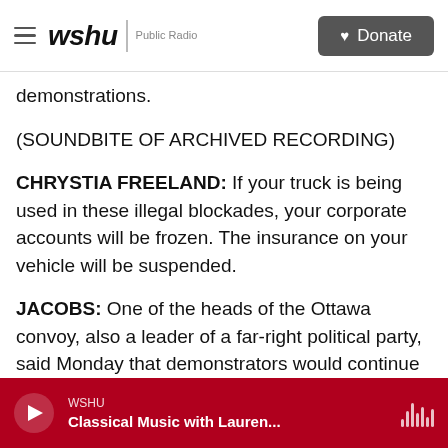wshu | Public Radio — Donate
demonstrations.
(SOUNDBITE OF ARCHIVED RECORDING)
CHRYSTIA FREELAND: If your truck is being used in these illegal blockades, your corporate accounts will be frozen. The insurance on your vehicle will be suspended.
JACOBS: One of the heads of the Ottawa convoy, also a leader of a far-right political party, said Monday that demonstrators would continue to, quote, "hold the line." Elsewhere in Canada, police
WSHU — Classical Music with Lauren...